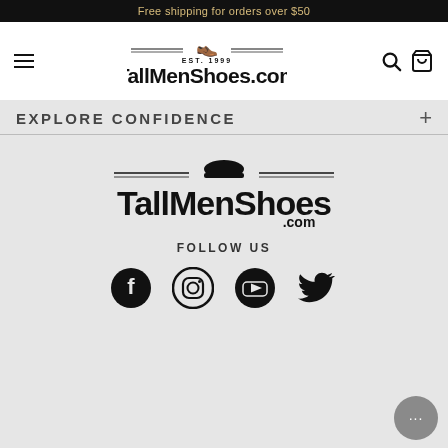Free shipping for orders over $50
[Figure (logo): TallMenShoes.com logo with shoe icon, EST. 1999, and navigation icons (hamburger menu, search, cart)]
EXPLORE CONFIDENCE
[Figure (logo): TallMenShoes.com large footer logo with shoe icon]
FOLLOW US
[Figure (infographic): Social media icons: Facebook, Instagram, YouTube, Twitter]